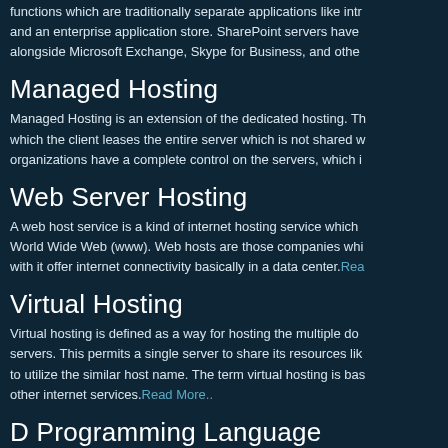functions which are traditionally separate applications like intranet and an enterprise application store. SharePoint servers have alongside Microsoft Exchange, Skype for Business, and other
Managed Hosting
Managed Hosting is an extension of the dedicated hosting. The which the client leases the entire server which is not shared with organizations have a complete control on the servers, which i
Web Server Hosting
A web host service is a kind of internet hosting service which World Wide Web (www). Web hosts are those companies whi with it offer internet connectivity basically in a data center. Read More..
Virtual Hosting
Virtual hosting is defined as a way for hosting the multiple dom servers. This permits a single server to share its resources lik to utilize the similar host name. The term virtual hosting is bas other internet services. Read More..
D Programming Language
It is a programming language used for general purpose applic language is closer to human readable form. The code written interpreted language. This language is mainly for those wh